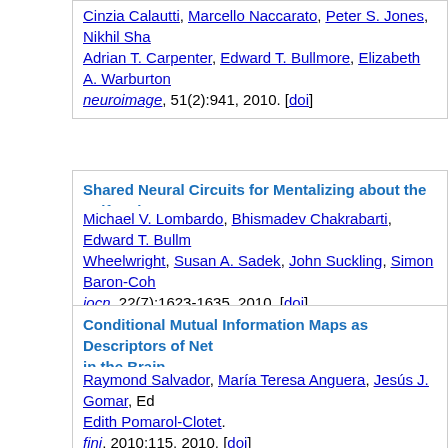Cinzia Calautti, Marcello Naccarato, Peter S. Jones, Nikhil Sha..., Adrian T. Carpenter, Edward T. Bullmore, Elizabeth A. Warburton... neuroimage, 51(2):941, 2010. [doi]
Shared Neural Circuits for Mentalizing about the Self and O...
Michael V. Lombardo, Bhismadev Chakrabarti, Edward T. Bullm..., Wheelwright, Susan A. Sadek, John Suckling, Simon Baron-Co... jocn, 22(7):1623-1635, 2010. [doi]
Conditional Mutual Information Maps as Descriptors of Net... in the Brain
Raymond Salvador, María Teresa Anguera, Jesús J. Gomar, Ed..., Edith Pomarol-Clotet. fini, 2010:115, 2010. [doi]
Network-based statistic: Identifying differences in brain net...
Andrew Zalesky, Alex Fornito, Edward T. Bullmore. neuroimage, 53(4):1197-1207, 2010. [doi]